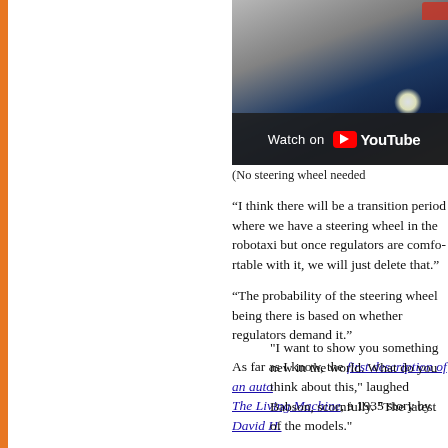[Figure (screenshot): YouTube video thumbnail showing a car (partially red roof visible top right), with a dark road/pavement background. A YouTube 'Watch on YouTube' overlay bar appears at the bottom of the video.]
(No steering wheel needed
“I think there will be a transition period where we have a steering wheel in the robotaxi but once regulators are comfortable with it, we will just delete that.”
“The probability of the steering wheel being there is based on whether regulators demand it.”
As far as I know, the first description of an autonomous car is in The Living Machine, a 1935 story by David H.
"I want to show you something new in the world. What do you think about this," laughed Babson, scornfully. "The latest of the models."
"How about the steering wheel?"
"Where is it?"
"I do not need one. Sit down and make yourself at home. We are going into traffic..."